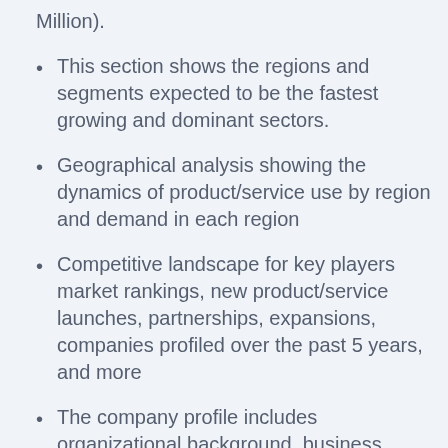Million).
This section shows the regions and segments expected to be the fastest growing and dominant sectors.
Geographical analysis showing the dynamics of product/service use by region and demand in each region
Competitive landscape for key players market rankings, new product/service launches, partnerships, expansions, companies profiled over the past 5 years, and more
The company profile includes organizational background, business insights, product analysis, and SWOT